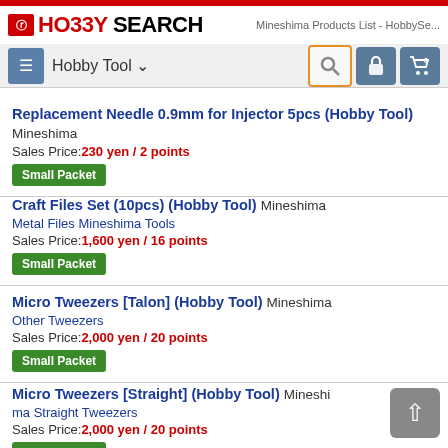HO33Y SEARCH — Mineshima Products List - HobbySe...
Replacement Needle 0.9mm for Injector 5pcs (Hobby Tool) Mineshima
Sales Price: 230 yen / 2 points
Small Packet
Craft Files Set (10pcs) (Hobby Tool) Mineshima
Metal Files Mineshima Tools
Sales Price: 1,600 yen / 16 points
Small Packet
Micro Tweezers [Talon] (Hobby Tool) Mineshima
Other Tweezers
Sales Price: 2,000 yen / 20 points
Small Packet
Micro Tweezers [Straight] (Hobby Tool) Mineshima
ma Straight Tweezers
Sales Price: 2,000 yen / 20 points
Small Packet